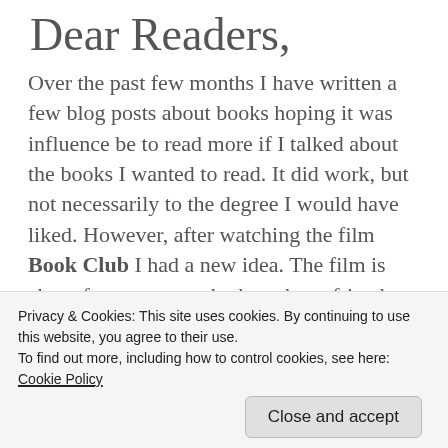Dear Readers,
Over the past few months I have written a few blog posts about books hoping it was influence be to read more if I talked about the books I wanted to read. It did work, but not necessarily to the degree I would have liked. However, after watching the film Book Club I had a new idea. The film is about four women who have been friends since college and formed a book club when they were in their twenties that they are still apart of now.  In the film they are all reading the notorious 50 Shades of
Privacy & Cookies: This site uses cookies. By continuing to use this website, you agree to their use.
To find out more, including how to control cookies, see here: Cookie Policy
Close and accept